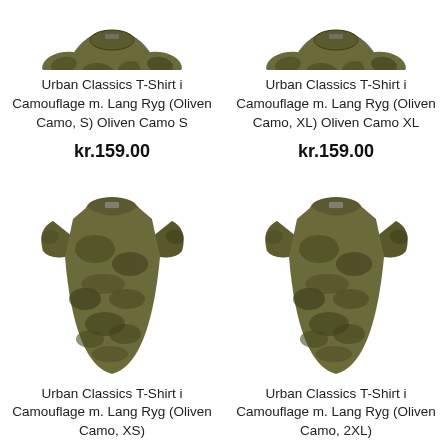[Figure (photo): Urban Classics camouflage T-shirt in olive camo, size S, partially cropped at top]
Urban Classics T-Shirt i Camouflage m. Lang Ryg (Oliven Camo, S) Oliven Camo S
kr.159.00
[Figure (photo): Urban Classics camouflage T-shirt in olive camo, size XL, partially cropped at top]
Urban Classics T-Shirt i Camouflage m. Lang Ryg (Oliven Camo, XL) Oliven Camo XL
kr.159.00
[Figure (photo): Urban Classics camouflage T-shirt in olive camo, size XS, full view]
Urban Classics T-Shirt i Camouflage m. Lang Ryg (Oliven Camo, XS)
[Figure (photo): Urban Classics camouflage T-shirt in olive camo, size 2XL, full view]
Urban Classics T-Shirt i Camouflage m. Lang Ryg (Oliven Camo, 2XL)